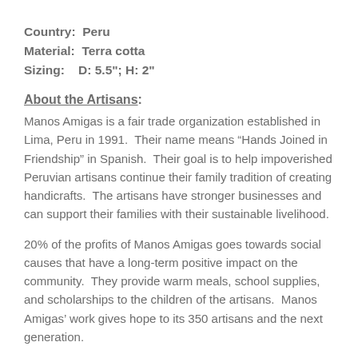Country:  Peru
Material:  Terra cotta
Sizing:    D: 5.5"; H: 2"
About the Artisans:
Manos Amigas is a fair trade organization established in Lima, Peru in 1991.  Their name means “Hands Joined in Friendship” in Spanish.  Their goal is to help impoverished Peruvian artisans continue their family tradition of creating handicrafts.  The artisans have stronger businesses and can support their families with their sustainable livelihood.
20% of the profits of Manos Amigas goes towards social causes that have a long-term positive impact on the community.  They provide warm meals, school supplies, and scholarships to the children of the artisans.  Manos Amigas’ work gives hope to its 350 artisans and the next generation.